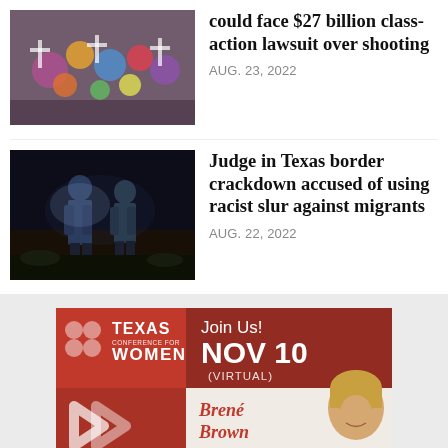[Figure (photo): Colorful memorial with flowers and angel figurines, outdoor daylight scene]
could face $27 billion class-action lawsuit over shooting
AUG. 23, 2022
[Figure (photo): Two law enforcement officers at night scene near border, dark background]
Judge in Texas border crackdown accused of using racist slur against migrants
AUG. 22, 2022
[Figure (illustration): Texas Conference for Women advertisement banner featuring Brené Brown, NOV 10 Virtual event]